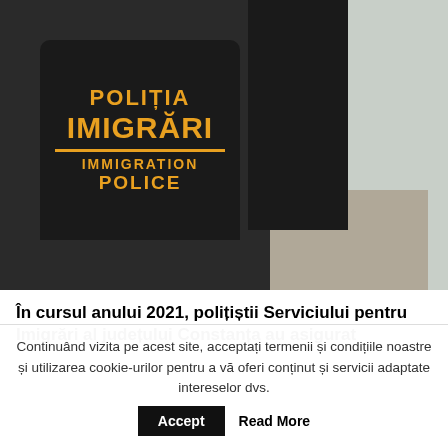[Figure (photo): Two Romanian Immigration Police officers (Poliția Imigrări) viewed from behind in a corridor. The foreground officer wears a black tactical vest with yellow text reading 'POLIȚIA IMIGRĂRI / IMMIGRATION POLICE'. A second officer stands in the background.]
În cursul anului 2021, polițiștii Serviciului pentru Imigrări al județului Constanța au asigurat
Continuând vizita pe acest site, acceptați termenii și condițiile noastre și utilizarea cookie-urilor pentru a vă oferi conținut și servicii adaptate intereselor dvs.